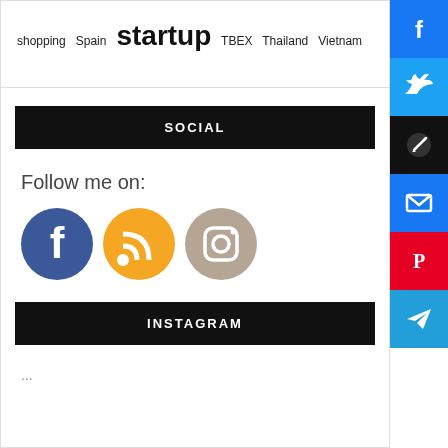shopping  Spain  startup  TBEX  Thailand  Vietnam
SOCIAL
Follow me on:
[Figure (illustration): Three circular social media icons: Facebook (blue), RSS feed (orange), Instagram (tan/beige)]
[Figure (infographic): Side bar with six social sharing buttons: Facebook (blue), Twitter (blue), Save (black), Email (blue), Pinterest (red), Telegram (blue)]
INSTAGRAM
...